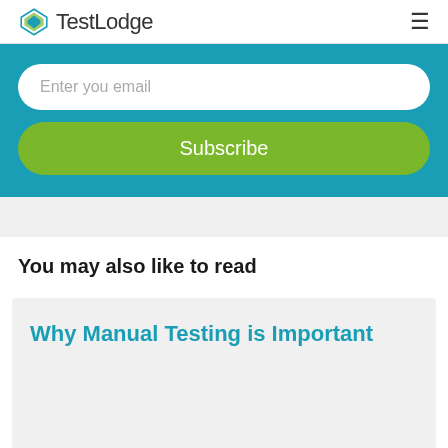TestLodge
[Figure (screenshot): Email subscription form with 'Enter you email' input field and green 'Subscribe' button on teal background]
You may also like to read
Why Manual Testing is Important